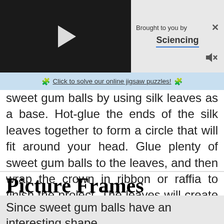[Figure (screenshot): Video player with black background and white play button triangle]
Brought to you by Sciencing
🧩 Click to solve our online jigsaw puzzles! 🧩
sweet gum balls by using silk leaves as a base. Hot-glue the ends of the silk leaves together to form a circle that will fit around your head. Glue plenty of sweet gum balls to the leaves, and then wrap the crown in ribbon or raffia to finish the project. The leaves will create a barrier so that the barbs of the sweet gum balls won't attach themselves to your hair.
Picture Frames
Since sweet gum balls have an interesting shape, they can add visual interest to a simple picture